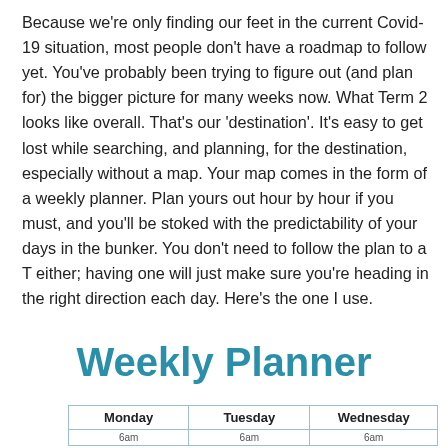Because we're only finding our feet in the current Covid-19 situation, most people don't have a roadmap to follow yet. You've probably been trying to figure out (and plan for) the bigger picture for many weeks now. What Term 2 looks like overall. That's our 'destination'. It's easy to get lost while searching, and planning, for the destination, especially without a map. Your map comes in the form of a weekly planner. Plan yours out hour by hour if you must, and you'll be stoked with the predictability of your days in the bunker. You don't need to follow the plan to a T either; having one will just make sure you're heading in the right direction each day. Here's the one I use.
Weekly Planner
| Monday | Tuesday | Wednesday |
| --- | --- | --- |
| 6am | 6am | 6am |